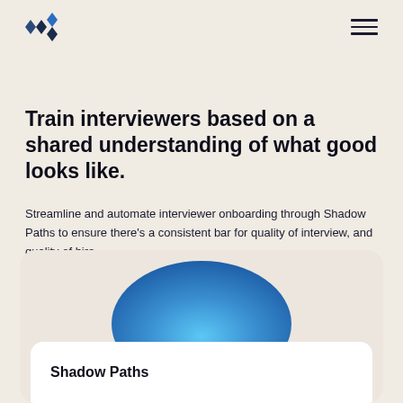Logo and navigation
Train interviewers based on a shared understanding of what good looks like.
Streamline and automate interviewer onboarding through Shadow Paths to ensure there’s a consistent bar for quality of interview, and quality of hire.
[Figure (illustration): A card with a rounded beige background containing a blue gradient blob shape at the top and a white rounded sub-card at the bottom labeled 'Shadow Paths']